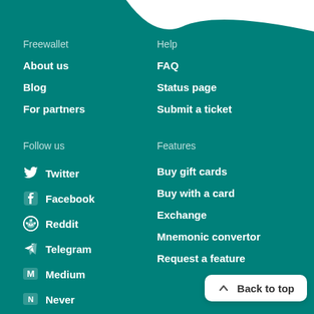[Figure (illustration): White curved wave shape at top of teal background]
Freewallet
About us
Blog
For partners
Help
FAQ
Status page
Submit a ticket
Follow us
Twitter
Facebook
Reddit
Telegram
Medium
Never
Features
Buy gift cards
Buy with a card
Exchange
Mnemonic convertor
Request a feature
Back to top